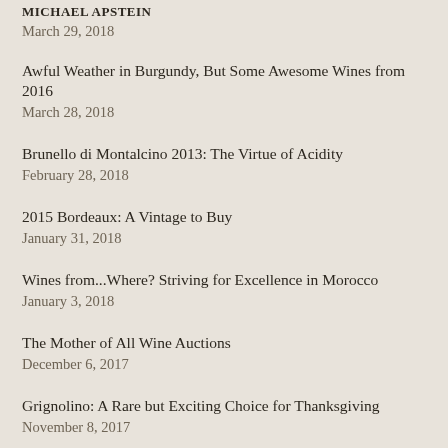MICHAEL APSTEIN
March 29, 2018
Awful Weather in Burgundy, But Some Awesome Wines from 2016
March 28, 2018
Brunello di Montalcino 2013: The Virtue of Acidity
February 28, 2018
2015 Bordeaux: A Vintage to Buy
January 31, 2018
Wines from...Where? Striving for Excellence in Morocco
January 3, 2018
The Mother of All Wine Auctions
December 6, 2017
Grignolino: A Rare but Exciting Choice for Thanksgiving
November 8, 2017
Nizza: A New Italian DOCG Worth Remembering
October 11, 2017